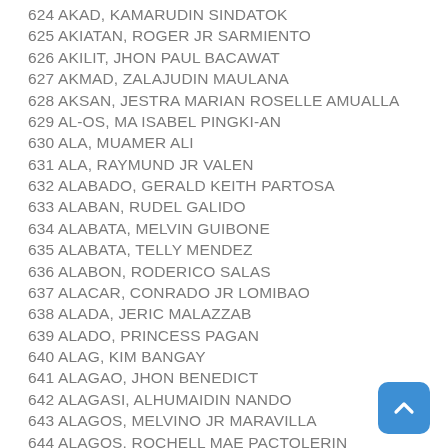624 AKAD, KAMARUDIN SINDATOK
625 AKIATAN, ROGER JR SARMIENTO
626 AKILIT, JHON PAUL BACAWAT
627 AKMAD, ZALAJUDIN MAULANA
628 AKSAN, JESTRA MARIAN ROSELLE AMUALLA
629 AL-OS, MA ISABEL PINGKI-AN
630 ALA, MUAMER ALI
631 ALA, RAYMUND JR VALEN
632 ALABADO, GERALD KEITH PARTOSA
633 ALABAN, RUDEL GALIDO
634 ALABATA, MELVIN GUIBONE
635 ALABATA, TELLY MENDEZ
636 ALABON, RODERICO SALAS
637 ALACAR, CONRADO JR LOMIBAO
638 ALADA, JERIC MALAZZAB
639 ALADO, PRINCESS PAGAN
640 ALAG, KIM BANGAY
641 ALAGAO, JHON BENEDICT
642 ALAGASI, ALHUMAIDIN NANDO
643 ALAGOS, MELVINO JR MARAVILLA
644 ALAGOS, ROCHELL MAE PACTOLERIN